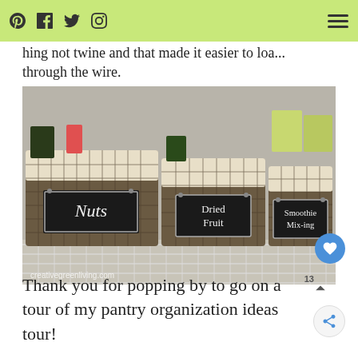Social icons: Pinterest, Facebook, Twitter, Instagram; Hamburger menu
hing not twine and that made it easier to loa... through the wire.
[Figure (photo): Wire baskets lined with fabric sitting on a wire pantry shelf, labeled with chalkboard tags: Nuts, Dried Fruit, Smoothie Mix-ing. Watermark: creativegreenliving.com]
Thank you for popping by to go on a tour of my pantry organization ideas tour!